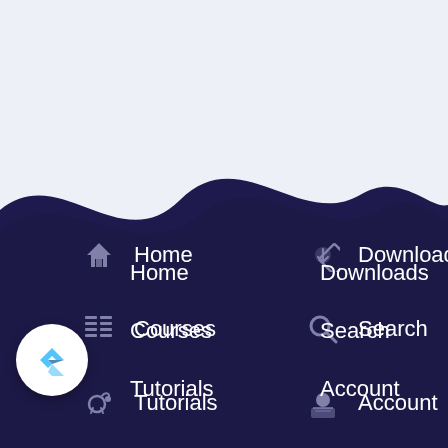[Figure (screenshot): Mobile app navigation screen with a dark navy wave background over a light lavender/white background. Navigation menu items in two columns: Home, Downloads, Courses, Search, Tutorials, Account. A Flutter logo FAB button in the bottom left corner.]
Home
Downloads
Courses
Search
Tutorials
Account